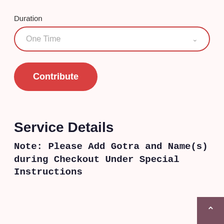Duration
One Time
Contribute
Service Details
Note: Please Add Gotra and Name(s) during Checkout Under Special Instructions